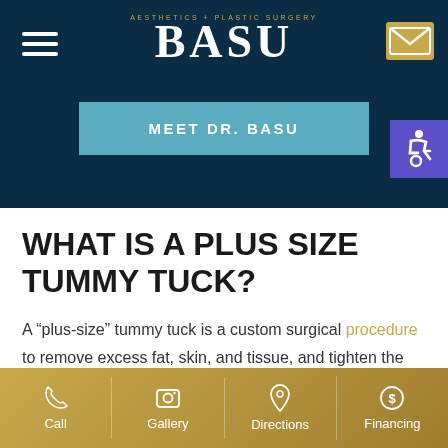[Figure (screenshot): Basu Aesthetics + Plastic Surgery website header with dark navy background, hamburger menu, BASU logo in white serif font with gold subtitle text, a teal 'MEET DR. BASU' button, a gold envelope email icon, and purple accessibility icon]
WHAT IS A PLUS SIZE TUMMY TUCK?
A “plus-size” tummy tuck is a custom surgical procedure to remove excess fat, skin, and tissue, and tighten the abdominal muscle structure.
Call   Gallery   Directions   Financing